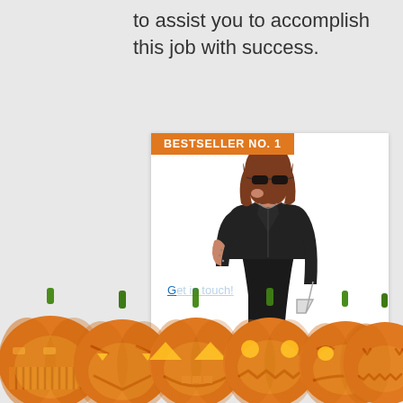to assist you to accomplish this job with success.
[Figure (photo): Product listing card with orange 'BESTSELLER NO. 1' badge and a woman wearing a black leather jacket, black sunglasses, and a black dress, carrying a silver chain bag on a white background.]
[Figure (illustration): Row of six glowing carved Halloween jack-o'-lantern pumpkins with orange bodies, green stems, and yellow illuminated carved faces, arranged in a horizontal row at the bottom of the page.]
G...im...n!